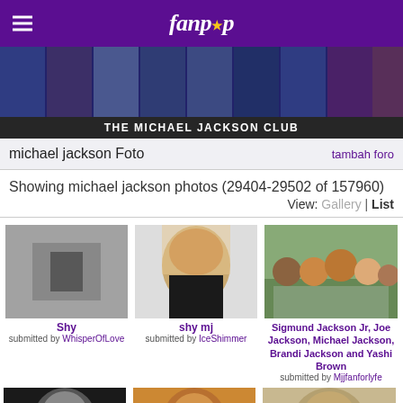fanpop
[Figure (photo): Banner with multiple Michael Jackson photos collage in blue/purple tones]
THE MICHAEL JACKSON CLUB
michael jackson Foto
tambah foro
Showing michael jackson photos (29404-29502 of 157960)
View: Gallery | List
[Figure (photo): Black and white photo titled Shy, submitted by WhisperOfLove]
Shy
submitted by WhisperOfLove
[Figure (photo): Photo of Michael Jackson with eyes closed titled shy mj, submitted by IceShimmer]
shy mj
submitted by IceShimmer
[Figure (photo): Group photo of Sigmund Jackson Jr, Joe Jackson, Michael Jackson, Brandi Jackson and Yashi Brown]
Sigmund Jackson Jr, Joe Jackson, Michael Jackson, Brandi Jackson and Yashi Brown
submitted by Mjjfanforlyfe
[Figure (photo): Black and white photo bottom left]
[Figure (photo): Color photo bottom center]
[Figure (photo): Photo bottom right of man with sunglasses]